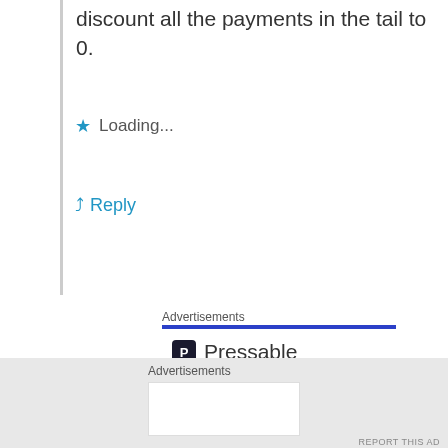discount all the payments in the tail to 0.
Loading...
Reply
Advertisements
[Figure (infographic): Pressable advertisement banner showing logo with 'P' icon and company name 'Pressable', dotted line separator, and large bold text reading 'The Platform Where WordPress Works Best']
Advertisements